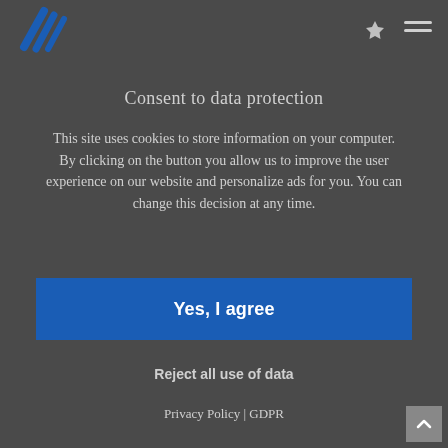[Figure (logo): Blue diagonal brush-stroke logo marks in top left]
Consent to data protection
This site uses cookies to store information on your computer. By clicking on the button you allow us to improve the user experience on our website and personalize ads for you. You can change this decision at any time.
Yes, I agree
Reject all use of data
Privacy Policy | GDPR